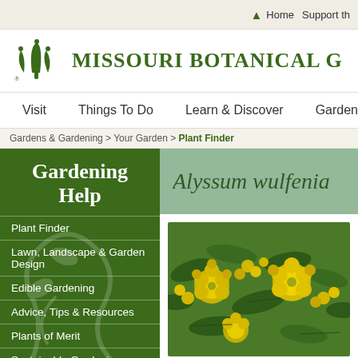Home  Support th
[Figure (logo): Missouri Botanical Garden logo with stylized plant/leaf icon and text MISSOURI BOTANICAL G]
Visit  Things To Do  Learn & Discover  Gardens & Gard
Gardens & Gardening > Your Garden > Plant Finder
Gardening Help
Plant Finder
Lawn, Landscape & Garden Design
Edible Gardening
Advice, Tips & Resources
Plants of Merit
Sustainable Gardening
Gardening Education & Classes
Alyssum wulfenia
[Figure (photo): Close-up photo of Alyssum wulfenia plant with bright yellow clustered flowers and green leaves]
More Images